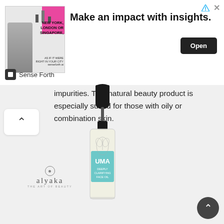[Figure (screenshot): Advertisement banner: Image of a man in a suit with text 'NEW YORK, LONDON OR SINGAPORE,' alongside headline 'Make an impact with insights.' with an Open button. 'Sense Forth' logo at bottom left. Close and share icons at top right.]
impurities. This natural beauty product is especially suited for those with oily or combination skin.
[Figure (photo): Alyaka 'The Art of Beauty' logo above a product photo of UMA Deeply Clarifying Face Oil in a glass dropper bottle.]